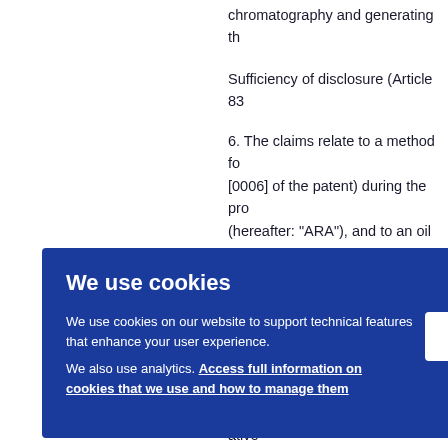chromatography and generating th…
Sufficiency of disclosure (Article 83…
6. The claims relate to a method fo… [0006] of the patent) during the pro… (hereafter: "ARA"), and to an oil co… paragraph VII supra). The claimed … growth medium comprising a nitrog… compositional ratio of 24,25-M in th… of an… rising… ative… 1 (the… g soy… 1 in th… the te… Table… which… eratur…
We use cookies
We use cookies on our website to support technical features that enhance your user experience.
We also use analytics. Access full information on cookies that we use and how to manage them
OK